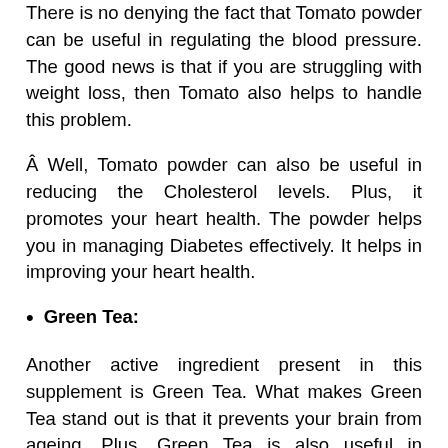There is no denying the fact that Tomato powder can be useful in regulating the blood pressure. The good news is that if you are struggling with weight loss, then Tomato also helps to handle this problem.
Â Well, Tomato powder can also be useful in reducing the Cholesterol levels. Plus, it promotes your heart health. The powder helps you in managing Diabetes effectively. It helps in improving your heart health.
Green Tea:
Another active ingredient present in this supplement is Green Tea. What makes Green Tea stand out is that it prevents your brain from ageing. Plus, Green Tea is also useful in preventing Type 2 Diabetes. The best part is that Green Tea has antioxidants that help in reducing the risk of some cancers.
Another aspect worth mentioning is that Green Tea can prevent